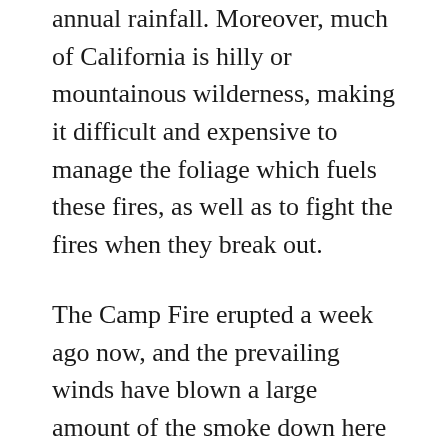annual rainfall. Moreover, much of California is hilly or mountainous wilderness, making it difficult and expensive to manage the foliage which fuels these fires, as well as to fight the fires when they break out.
The Camp Fire erupted a week ago now, and the prevailing winds have blown a large amount of the smoke down here to the San Francisco Bay Area – over 200 miles away. Last Friday was the worst, with smoke clogging the air and everything smelling burned. Outdoor kids' activities over the weekend – including the soccer games of our friends' kids – were cancelled. We mostly stayed indoors. By Monday the smell had mostly abated, and the